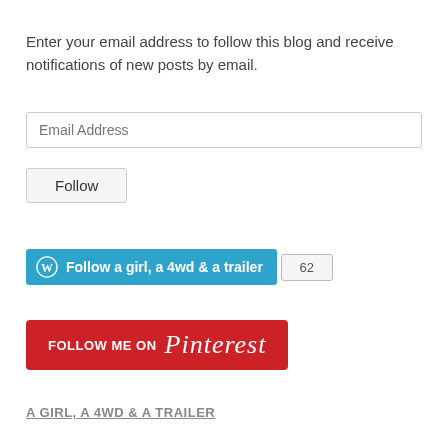Enter your email address to follow this blog and receive notifications of new posts by email.
[Figure (screenshot): Email address input field with placeholder text 'Email Address']
[Figure (screenshot): Follow button]
[Figure (screenshot): WordPress Follow button for 'Follow a girl, a 4wd & a trailer' with follower count badge showing 62]
[Figure (screenshot): Follow Me on Pinterest red button with Pinterest script logo]
A GIRL, A 4WD & A TRAILER